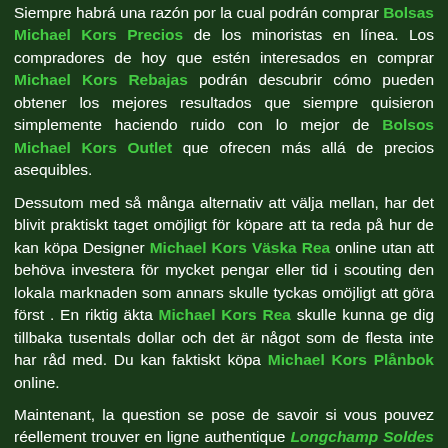Siempre habrá una razón por la cual podrán comprar Bolsas Michael Kors Precios de los minoristas en línea. Los compradores de hoy que estén interesados en comprar Michael Kors Rebajas podrán descubrir cómo pueden obtener los mejores resultados que siempre quisieron simplemente haciendo ruido con lo mejor de Bolsos Michael Kors Outlet que ofrecen más allá de precios asequibles.
Dessutom med så många alternativ att välja mellan, har det blivit praktiskt taget omöjligt för köpare att ta reda på hur de kan köpa Designer Michael Kors Väska Rea online utan att behöva investera för mycket pengar eller tid i scouting den lokala marknaden som annars skulle tyckas omöjligt att göra först . En riktig äkta Michael Kors Rea skulle kunna ge dig tillbaka tusentals dollar och det är något som de flesta inte har råd med. Du kan faktiskt köpa Michael Kors Plånbok online.
Maintenant, la question se pose de savoir si vous pouvez réellement trouver en ligne authentique Longchamp Soldes bon marché qui sont vraiment authentiques et la réponse est oui, vous pouvez! Un des sites les mieux